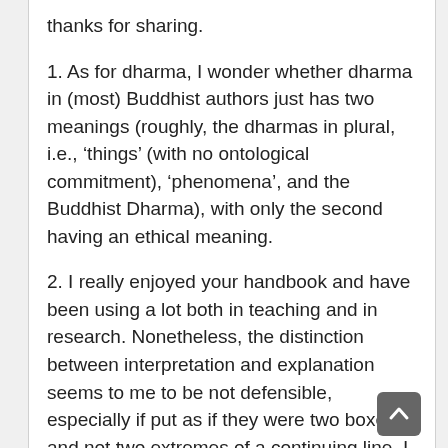thanks for sharing.
1. As for dharma, I wonder whether dharma in (most) Buddhist authors just has two meanings (roughly, the dharmas in plural, i.e., ‘things’ (with no ontological commitment), ‘phenomena’, and the Buddhist Dharma), with only the second having an ethical meaning.
2. I really enjoyed your handbook and have been using a lot both in teaching and in research. Nonetheless, the distinction between interpretation and explanation seems to me to be not defensible, especially if put as if they were two boxes and not two extremes of a continuing line. I think that feminism etc. have done a great job in